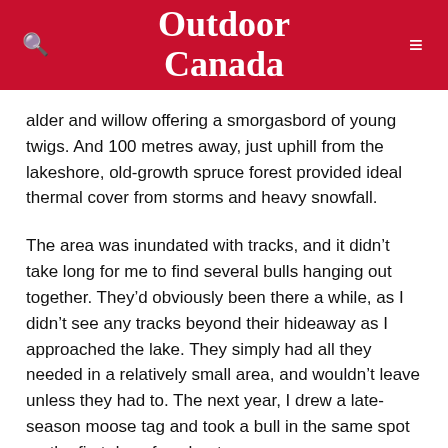Outdoor Canada
alder and willow offering a smorgasbord of young twigs. And 100 metres away, just uphill from the lakeshore, old-growth spruce forest provided ideal thermal cover from storms and heavy snowfall.
The area was inundated with tracks, and it didn't take long for me to find several bulls hanging out together. They'd obviously been there a while, as I didn't see any tracks beyond their hideaway as I approached the lake. They simply had all they needed in a relatively small area, and wouldn't leave unless they had to. The next year, I drew a late-season moose tag and took a bull in the same spot on the first day of my hunt.
River valleys are also preferred bull gathering spots, often offering the same good browse, excellent thermal cover and